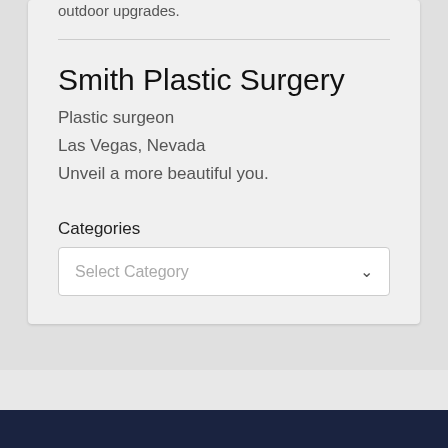outdoor upgrades.
Smith Plastic Surgery
Plastic surgeon
Las Vegas, Nevada
Unveil a more beautiful you.
Categories
Select Category